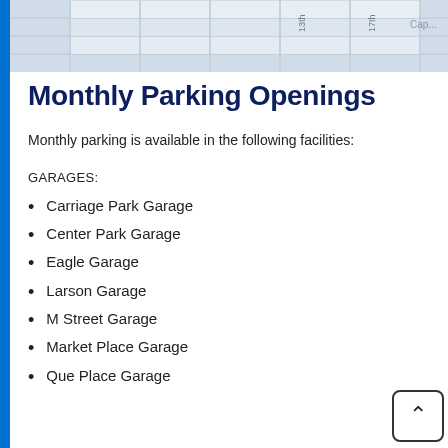[Figure (map): Partial street map showing city blocks with street labels including 13th, 17th, and Capitol area]
Monthly Parking Openings
Monthly parking is available in the following facilities:
GARAGES:
Carriage Park Garage
Center Park Garage
Eagle Garage
Larson Garage
M Street Garage
Market Place Garage
Que Place Garage